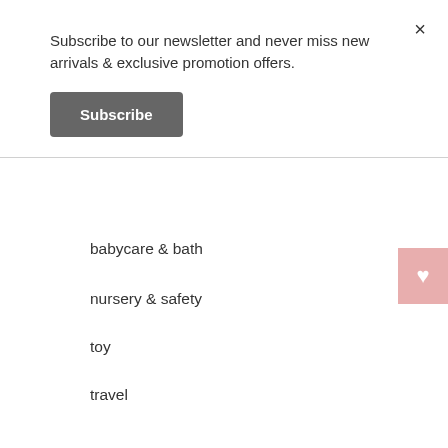Subscribe to our newsletter and never miss new arrivals & exclusive promotion offers.
Subscribe
babycare & bath
nursery & safety
toy
travel
maternity & nursing
help & info
help & faq
delivery information
terms & conditions